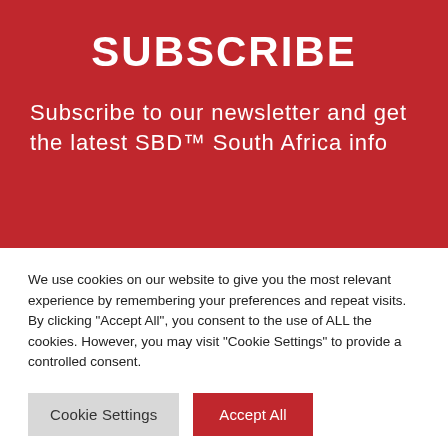SUBSCRIBE
Subscribe to our newsletter and get the latest SBD™ South Africa info
We use cookies on our website to give you the most relevant experience by remembering your preferences and repeat visits. By clicking "Accept All", you consent to the use of ALL the cookies. However, you may visit "Cookie Settings" to provide a controlled consent.
Cookie Settings
Accept All